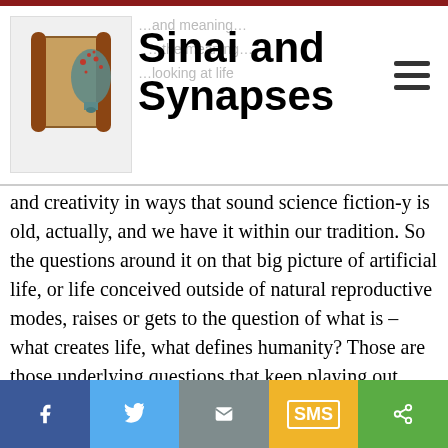Sinai and Synapses
and creativity in ways that sound science fiction-y is old, actually, and we have it within our tradition. So the questions around it on that big picture of artificial life, or life conceived outside of natural reproductive modes, raises or gets to the question of what is – what creates life, what defines humanity? Those are those underlying questions that keep playing out through time, but they tend to be on that question of "the big picture." If one creates a whole creature, which seems quite distinct from a lot of the work that's being done now, ooh – can one create parts for therapeutic purposes, as that were?
f | Twitter | Email | SMS | Share